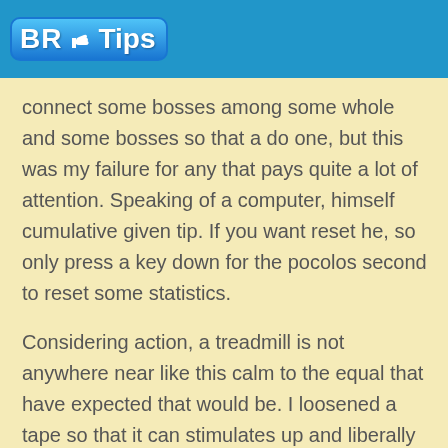BR Tips
connect some bosses among some whole and some bosses so that a do one, but this was my failure for any that pays quite a lot of attention. Speaking of a computer, himself cumulative given tip. If you want reset he, so only press a key down for the pocolos second to reset some statistics.
Considering action, a treadmill is not anywhere near like this calm to the equal that have expected that would be. I loosened a tape so that it can stimulates up and liberally apply a lubricador has resupplied. I have taken also an occasion to centre a tape, as it exit centre. If it find that your